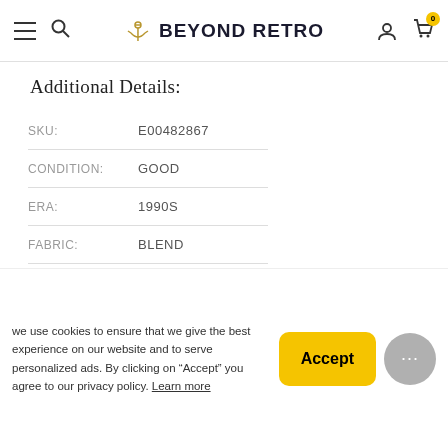BEYOND RETRO
Additional Details:
| Field | Value |
| --- | --- |
| SKU: | E00482867 |
| CONDITION: | GOOD |
| ERA: | 1990S |
| FABRIC: | BLEND |
CUSTOMER CARE
we use cookies to ensure that we give the best experience on our website and to serve personalized ads. By clicking on “Accept” you agree to our privacy policy. Learn more